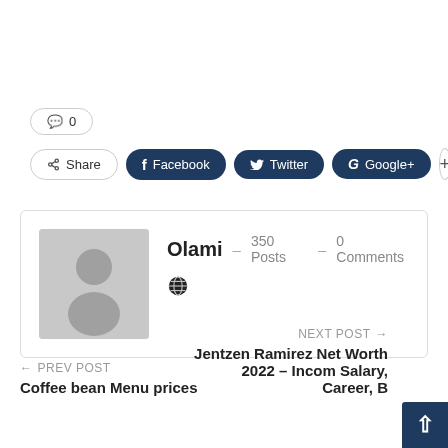💬 0
Share  Facebook  Twitter  Google+  +
[Figure (other): Author profile card showing a generic avatar silhouette, author name Olami, 350 Posts, 0 Comments, and a globe icon]
← PREV POST
Coffee bean Menu prices
NEXT POST →
Jentzen Ramirez Net Worth 2022 – Income, Salary, Career, B…